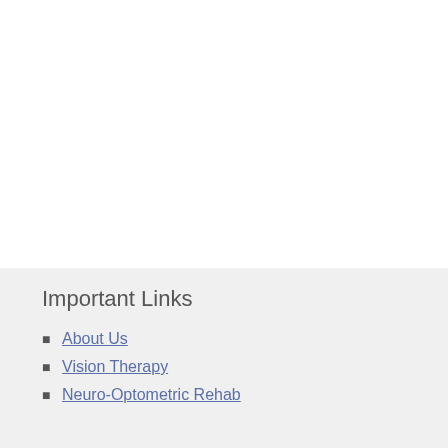Important Links
About Us
Vision Therapy
Neuro-Optometric Rehab